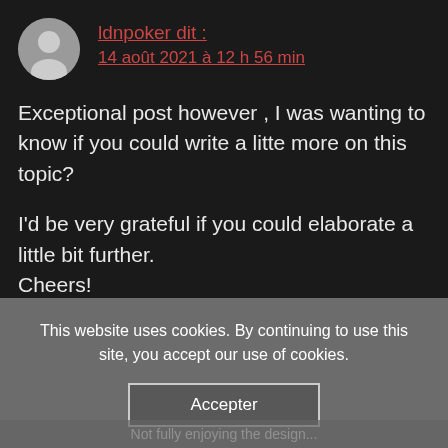ldnpoker dit : 14 août 2021 à 12 h 56 min
Exceptional post however , I was wanting to know if you could write a litte more on this topic?

I'd be very grateful if you could elaborate a little bit further.
Cheers!
This website uses cookies. By continuing to use this site, you accept our use of cookies.
Accepter
Not fully enjoying the design...